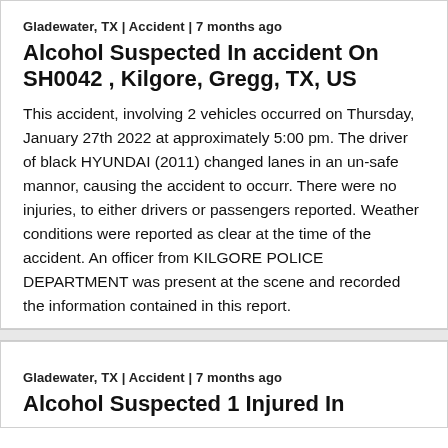Gladewater, TX | Accident | 7 months ago
Alcohol Suspected In accident On SH0042 , Kilgore, Gregg, TX, US
This accident, involving 2 vehicles occurred on Thursday, January 27th 2022 at approximately 5:00 pm. The driver of black HYUNDAI (2011) changed lanes in an un-safe mannor, causing the accident to occurr. There were no injuries, to either drivers or passengers reported. Weather conditions were reported as clear at the time of the accident. An officer from KILGORE POLICE DEPARTMENT was present at the scene and recorded the information contained in this report.
Gladewater, TX | Accident | 7 months ago
Alcohol Suspected 1 Injured In